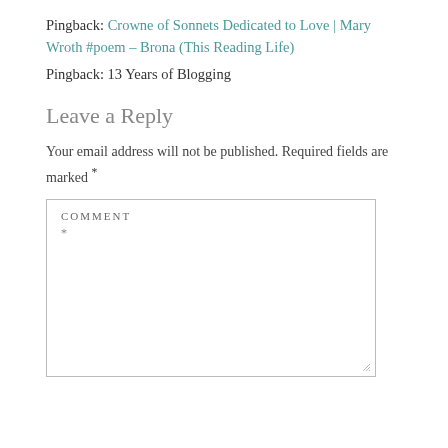Pingback: Crowne of Sonnets Dedicated to Love | Mary Wroth #poem – Brona (This Reading Life)
Pingback: 13 Years of Blogging
Leave a Reply
Your email address will not be published. Required fields are marked *
COMMENT *